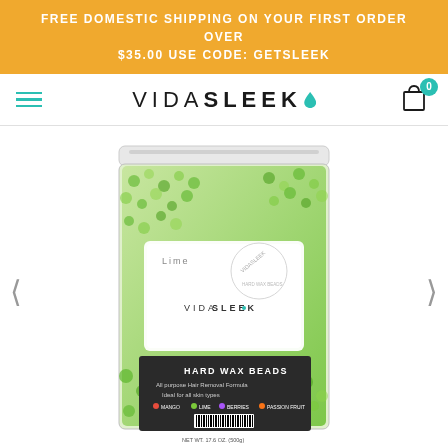FREE DOMESTIC SHIPPING ON YOUR FIRST ORDER OVER $35.00 USE CODE: GETSLEEK
[Figure (logo): VidaSleek logo with teal water drop]
[Figure (photo): VidaSleek Hard Wax Beads product bag filled with lime green wax beads, labeled with Lime scent and VidaSleek branding]